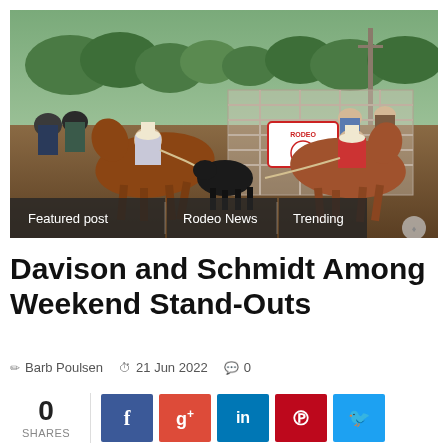[Figure (photo): Rodeo scene showing two cowboys on horses roping a black calf in a dirt arena, with spectators and metal fencing/gates in the background. Tags visible at bottom: Featured post, Rodeo News, Trending.]
Davison and Schmidt Among Weekend Stand-Outs
Barb Poulsen   21 Jun 2022   0
0 SHARES